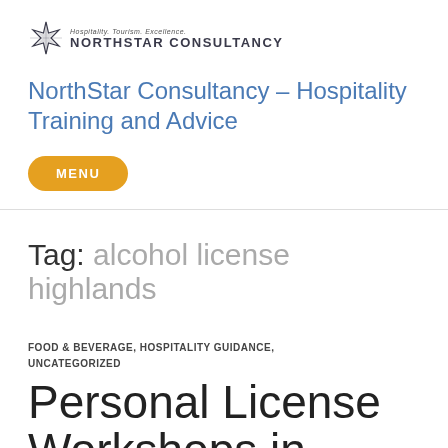[Figure (logo): NorthStar Consultancy logo with star icon and tagline 'Hospitality. Tourism. Excellence.']
NorthStar Consultancy – Hospitality Training and Advice
MENU
Tag: alcohol license highlands
FOOD & BEVERAGE, HOSPITALITY GUIDANCE, UNCATEGORIZED
Personal License Workshops in Oban,